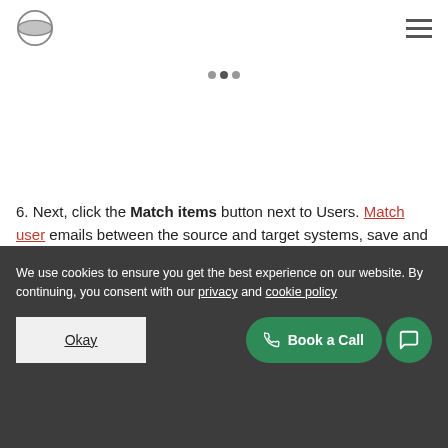Logo and navigation menu
6. Next, click the Match items button next to Users. Match user emails between the source and target systems, save and continue the migration.
We use cookies to ensure you get the best experience on our website. By continuing, you consent with our privacy and cookie policy
Okay
Book a Call